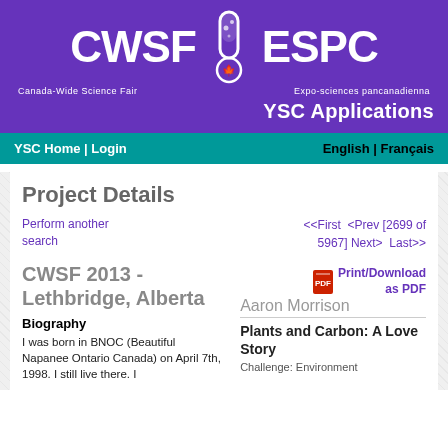[Figure (logo): CWSF | ESPC Canada-Wide Science Fair / Expo-sciences pancanadienna logo with test tube icon on purple background]
YSC Applications
YSC Home | Login                    English | Français
Project Details
Perform another search
<<First  <Prev [2699 of 5967] Next>  Last>>
CWSF 2013 - Lethbridge, Alberta
Print/Download as PDF
Aaron Morrison
Plants and Carbon: A Love Story
Challenge: Environment
Biography
I was born in BNOC (Beautiful Napanee Ontario Canada) on April 7th, 1998. I still live there. I